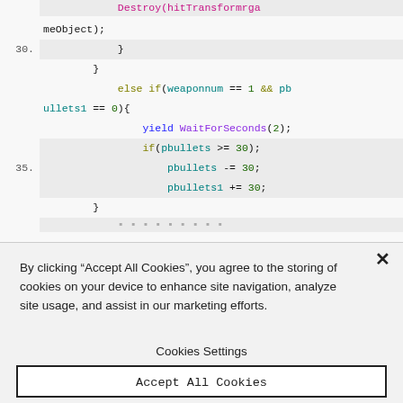[Figure (screenshot): Code editor screenshot showing C#/Unity code lines 30-35+ with syntax highlighting. Line 30 shows closing brace, then another closing brace, then 'else if(weaponnum == 1 && pbullets1 == 0){', then 'yield WaitForSeconds(2);', then 'if(pbullets >= 30);', line 35 shows 'pbullets -= 30;', then 'pbullets1 += 30;', then closing brace, then partially visible next line.]
By clicking “Accept All Cookies”, you agree to the storing of cookies on your device to enhance site navigation, analyze site usage, and assist in our marketing efforts.
Cookies Settings
Accept All Cookies